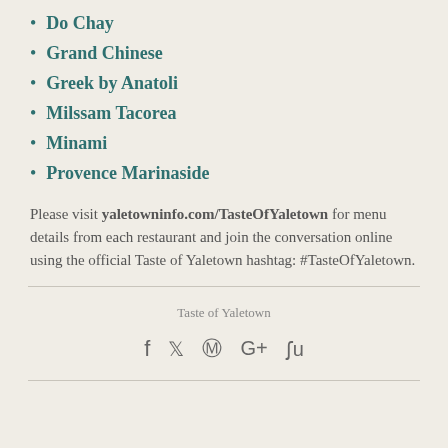Do Chay
Grand Chinese
Greek by Anatoli
Milssam Tacorea
Minami
Provence Marinaside
Please visit yaletowninfo.com/TasteOfYaletown for menu details from each restaurant and join the conversation online using the official Taste of Yaletown hashtag: #TasteOfYaletown.
Taste of Yaletown